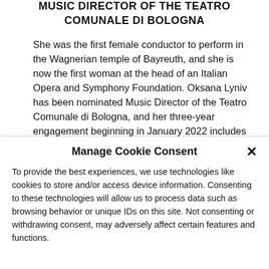MUSIC DIRECTOR OF THE TEATRO COMUNALE DI BOLOGNA
She was the first female conductor to perform in the Wagnerian temple of Bayreuth, and she is now the first woman at the head of an Italian Opera and Symphony Foundation. Oksana Lyniv has been nominated Music Director of the Teatro Comunale di Bologna, and her three-year engagement beginning in January 2022 includes
Manage Cookie Consent
To provide the best experiences, we use technologies like cookies to store and/or access device information. Consenting to these technologies will allow us to process data such as browsing behavior or unique IDs on this site. Not consenting or withdrawing consent, may adversely affect certain features and functions.